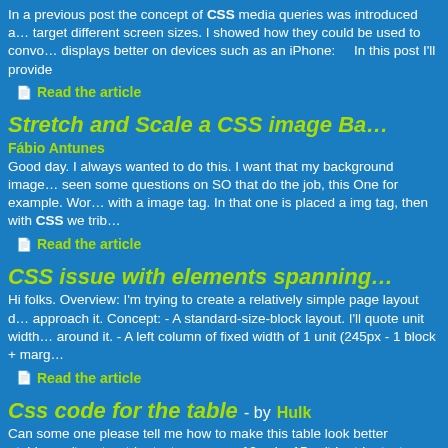In a previous post the concept of CSS media queries was introduced and how they could be used to target different screen sizes. I showed how they could be used to convert displays better on devices such as an iPhone:      In this post I'll provide
Read the article
Stretch and Scale a CSS image Ba
Fábio Antunes
Good day. I always wanted to do this. I want that my background image seen some questions on SO that do the job, this One for example. Wor with a image tag. In that one is placed a img tag, then with CSS we trib
Read the article
CSS issue with elements spanning
Hi folks. Overview: I'm trying to create a relatively simple page layout d approach it. Concept: - A standard-size-block layout. I'll quote unit width around it. - A left column of fixed width of 1 unit (245px - 1 block + marg
Read the article
Css code for the table - by Hulk
Can some one please tell me how to make this table look better <table </tr> <tr><td><textarea rows=10 cols=15></td><td><textarea rows=10
Read the article
Directory structure for a website (j
For years I've been using the following directory structure for my websit ->styles css ->someplugin css ->images -> all website images…  itse